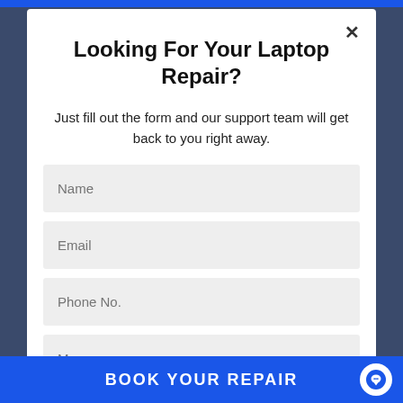Looking For Your Laptop Repair?
Just fill out the form and our support team will get back to you right away.
Name
Email
Phone No.
Message
BOOK YOUR REPAIR